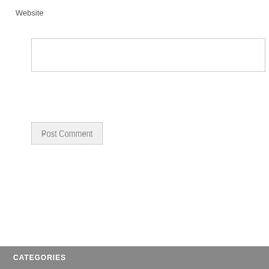Website
[Figure (screenshot): A text input field for Website URL]
[Figure (illustration): Post Comment button - a gray button with 'Post Comment' text]
[Figure (illustration): Amazon.com Books advertisement banner with white top section showing amazon.com logo and tagline 'and you’re done.', and green bottom section with 'Books' text, 'Click here' button, and 'Privacy Information' text]
CATEGORIES